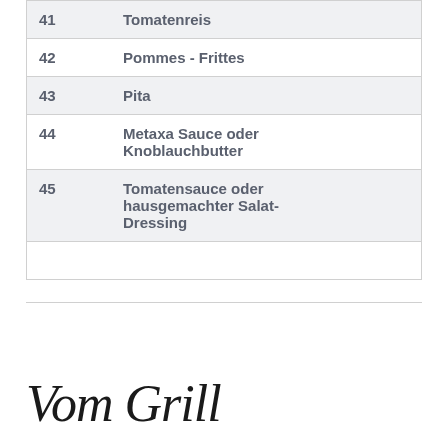| # | Item |
| --- | --- |
| 41 | Tomatenreis |
| 42 | Pommes - Frittes |
| 43 | Pita |
| 44 | Metaxa Sauce oder Knoblauchbutter |
| 45 | Tomatensauce oder hausgemachter Salat-Dressing |
|  |  |
Vom Grill